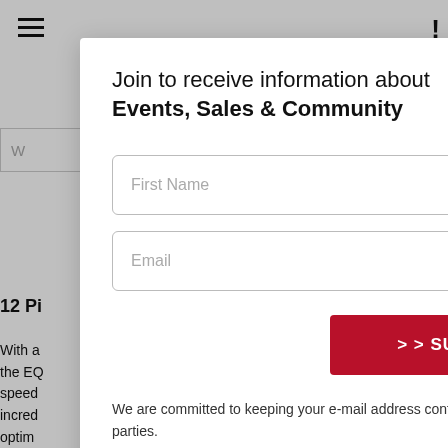Join to receive information about Events, Sales & Community
First Name
Last Name
Email
>> SUBSCRIBE <<
We are committed to keeping your e-mail address confidential. We do not sell, rent, or lease our contact data to third parties.